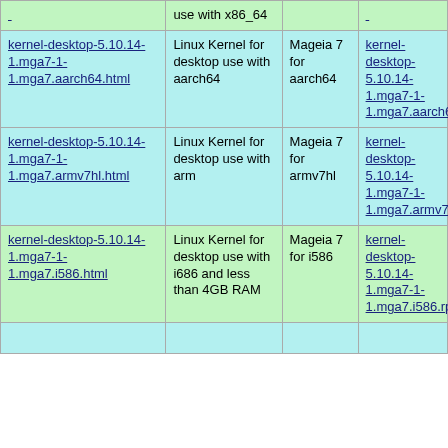| Package | Description | Distribution | Download |
| --- | --- | --- | --- |
| kernel-desktop-5.10.14-1.mga7-1-1.mga7.aarch64.html | Linux Kernel for desktop use with aarch64 | Mageia 7 for aarch64 | kernel-desktop-5.10.14-1.mga7-1-1.mga7.aarch64.rpm |
| kernel-desktop-5.10.14-1.mga7-1-1.mga7.armv7hl.html | Linux Kernel for desktop use with arm | Mageia 7 for armv7hl | kernel-desktop-5.10.14-1.mga7-1-1.mga7.armv7hl.rpm |
| kernel-desktop-5.10.14-1.mga7-1-1.mga7.i586.html | Linux Kernel for desktop use with i686 and less than 4GB RAM | Mageia 7 for i586 | kernel-desktop-5.10.14-1.mga7-1-1.mga7.i586.rpm |